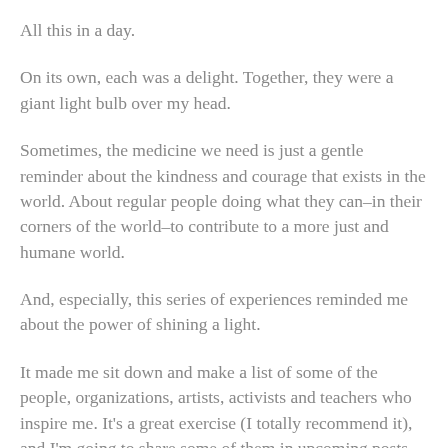All this in a day.
On its own, each was a delight. Together, they were a giant light bulb over my head.
Sometimes, the medicine we need is just a gentle reminder about the kindness and courage that exists in the world. About regular people doing what they can–in their corners of the world–to contribute to a more just and humane world.
And, especially, this series of experiences reminded me about the power of shining a light.
It made me sit down and make a list of some of the people, organizations, artists, activists and teachers who inspire me. It's a great exercise (I totally recommend it), and I'm going to share some of them in upcoming posts. But first, I wanted to shine a light on the four